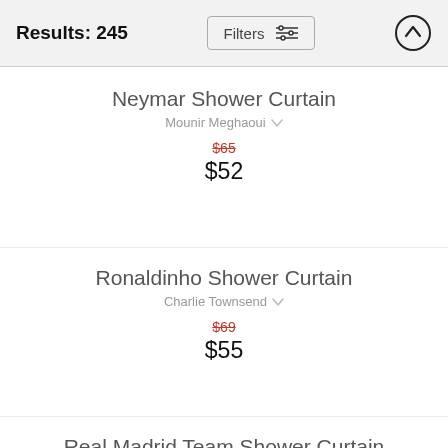Results: 245
Neymar Shower Curtain
Mounir Meghaoui
$65 (original price, crossed out)
$52
Ronaldinho Shower Curtain
Charlie Townsend
$69 (original price, crossed out)
$55
Real Madrid Team Shower Curtain
Charlie Townsend